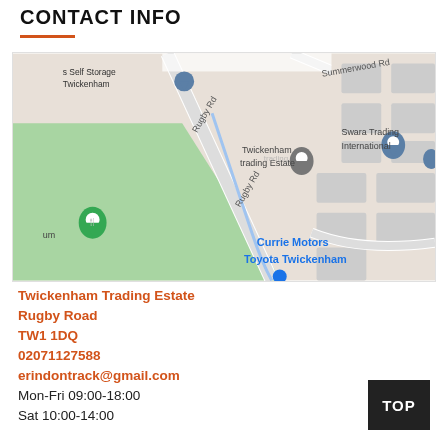CONTACT INFO
[Figure (map): Google Maps showing Twickenham Trading Estate on Rugby Road, with nearby landmarks including Swara Trading International, Currie Motors Toyota Twickkenham, and a green park area.]
Twickenham Trading Estate
Rugby Road
TW1 1DQ
02071127588
erindontrack@gmail.com
Mon-Fri 09:00-18:00
Sat 10:00-14:00